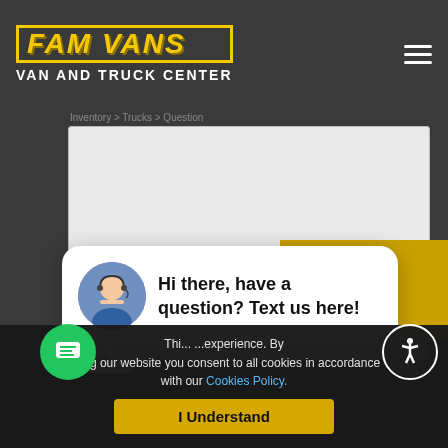FAM VANS VAN AND TRUCK CENTER
[Figure (screenshot): Website screenshot of Fam Vans Van and Truck Center showing header with logo, hamburger menu, a textarea input area with close button, a live chat popup bubble with avatar and text 'Hi there, have a question? Text us here!', a cookie consent banner with 'I Understand' button, a green chat icon button, and an accessibility icon.]
Hi there, have a question? Text us here!
This website uses cookies to improve your experience. By using our website you consent to all cookies in accordance with our Cookies Policy.
I Understand
close
All Used Cars And Trucks For Sale